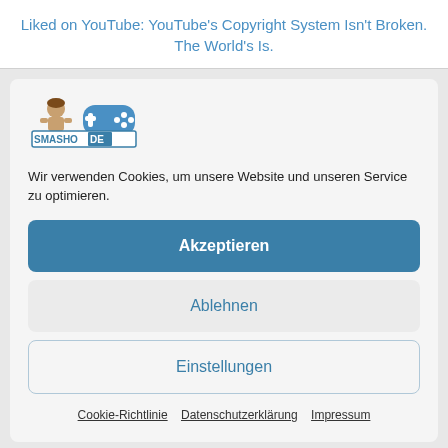Liked on YouTube: YouTube's Copyright System Isn't Broken. The World's Is.
[Figure (logo): SMASHO.DE logo with cartoon character and game controller icon]
Wir verwenden Cookies, um unsere Website und unseren Service zu optimieren.
Akzeptieren
Ablehnen
Einstellungen
Cookie-Richtlinie   Datenschutzerklärung   Impressum